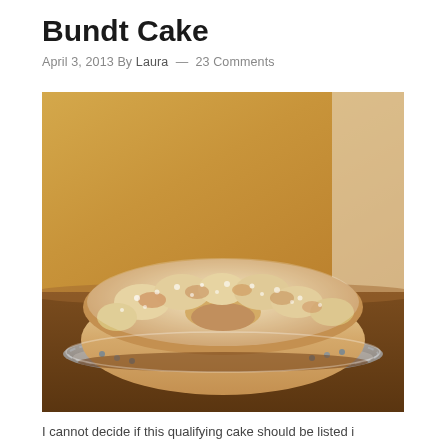Bundt Cake
April 3, 2013 By Laura — 23 Comments
[Figure (photo): Close-up photo of a bundt cake dusted with powdered sugar, sitting on a decorative plate on a wooden surface, with a warm yellow/orange blurred background.]
I cannot decide if this qualifying cake should be listed i...